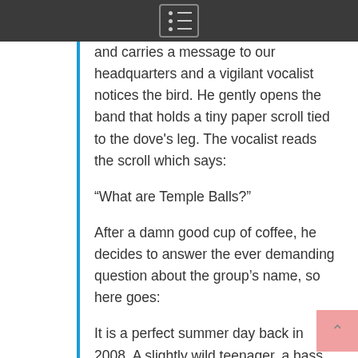menu icon / navigation header
and carries a message to our headquarters and a vigilant vocalist notices the bird. He gently opens the band that holds a tiny paper scroll tied to the dove's leg. The vocalist reads the scroll which says:
“What are Temple Balls?”
After a damn good cup of coffee, he decides to answer the ever demanding question about the group’s name, so here goes:
It is a perfect summer day back in 2008. A slightly wild teenager, a bass player called Jimi, reads a book in his hammock. Normally he’d be bouncing all over the place probably making pranks and sharing laughs with his friends. This time it’s different. This time, the 14 year old boy got his